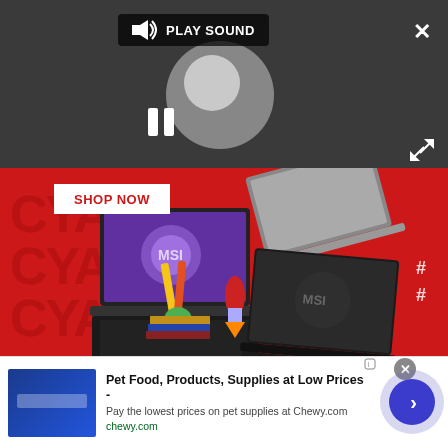[Figure (screenshot): Dark overlay video player UI with play sound button, loading spinner, pause button, close X, and expand button]
[Figure (screenshot): Red advertisement banner showing MSI laptops with SHOP NOW button and decorative school/gaming items]
[Figure (screenshot): Bottom advertisement for Chewy.com pet supplies: 'Pet Food, Products, Supplies at Low Prices - Pay the lowest prices on pet supplies at Chewy.com' with navigation arrow]